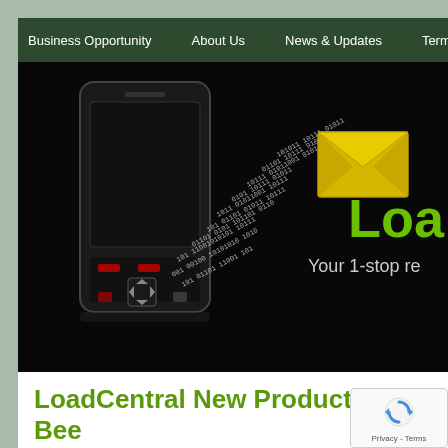Business Opportunity | About Us | News & Updates | Terms & C
[Figure (illustration): Hero banner showing a smartphone with binary code streaming toward a yellow email envelope icon, with green text 'Loa' and 'Your 1-stop re' partially visible on dark background]
LoadCentral New Product: Free Bee
February 15th, 2020 | Author: Dealer SMSRUs
[Figure (logo): reCAPTCHA badge with refresh icon and Privacy - Terms text]